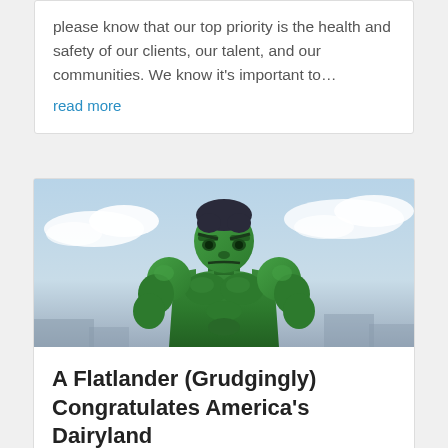please know that our top priority is the health and safety of our clients, our talent, and our communities. We know it's important to…
read more
[Figure (photo): A green Hulk action figure photographed against a light blue sky with clouds]
A Flatlander (Grudgingly) Congratulates America's Dairyland
by Mike Zimmerman | Jan 29, 2020 | Community | 2 Comments
As it happens, the guy who writes our